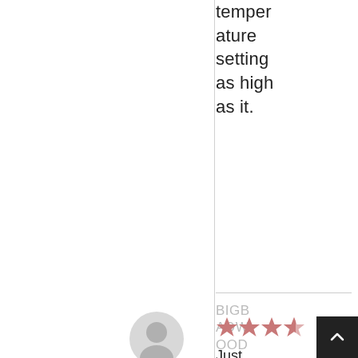temperature setting as high as it.
BIGBADWOOD
May 18, 2018
[Figure (illustration): Star rating showing approximately 3 out of 5 stars in muted red/rose color]
Just